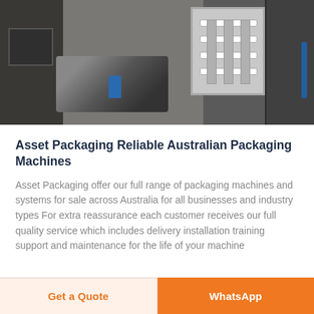[Figure (photo): Industrial packaging machinery showing metal frames, cables, and machine components in a factory setting]
Asset Packaging Reliable Australian Packaging Machines
Asset Packaging offer our full range of packaging machines and systems for sale across Australia for all businesses and industry types For extra reassurance each customer receives our full quality service which includes delivery installation training support and maintenance for the life of your machine
Get a Quote
WhatsApp